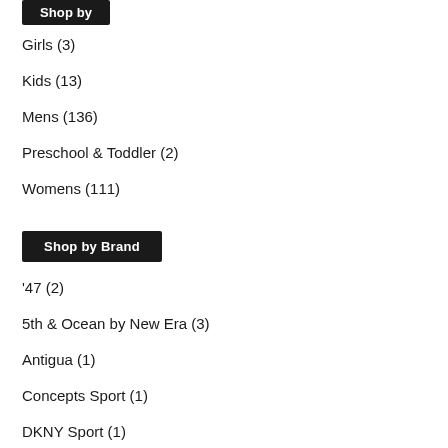[Figure (other): Dark button/label partially visible at top: 'Shop by [something]']
Girls (3)
Kids (13)
Mens (136)
Preschool & Toddler (2)
Womens (111)
[Figure (other): Dark button labeled 'Shop by Brand']
'47 (2)
5th & Ocean by New Era (3)
Antigua (1)
Concepts Sport (1)
DKNY Sport (1)
FOCO (2)
G-III 4Her by Carl Banks (4)